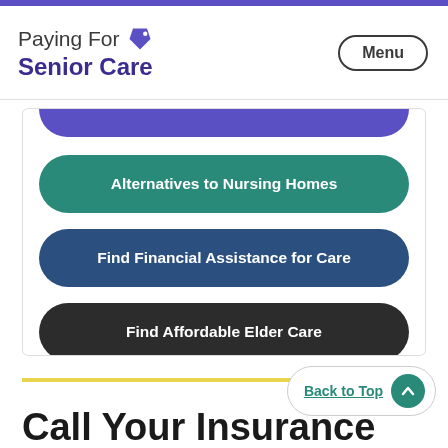Paying For Senior Care
Alternatives to Nursing Homes
Find Financial Assistance for Care
Find Affordable Elder Care
Back to Top
Call Your Insurance